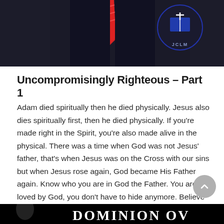[Figure (photo): Top portion of a photo showing a man in a dark suit with red tie, and a JCLM logo (book with cross) in the upper right corner on dark background.]
Uncompromisingly Righteous – Part 1
Adam died spiritually then he died physically. Jesus also dies spiritually first, then he died physically. If you're made right in the Spirit, you're also made alive in the physical. There was a time when God was not Jesus' father, that's when Jesus was on the Cross with our sins but when Jesus rose again, God became His Father again. Know who you are in God the Father. You are loved by God, you don't have to hide anymore. Believe God for everything,, nothing is impossible with Him.
[Figure (photo): Bottom portion showing a dark image with text 'DOMINION OV' visible, partial image of a person on the left.]